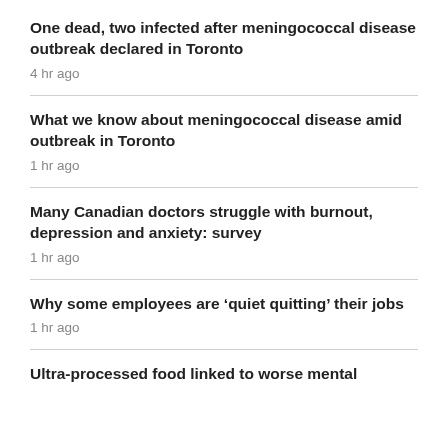One dead, two infected after meningococcal disease outbreak declared in Toronto
4 hr ago
What we know about meningococcal disease amid outbreak in Toronto
1 hr ago
Many Canadian doctors struggle with burnout, depression and anxiety: survey
1 hr ago
Why some employees are ‘quiet quitting’ their jobs
1 hr ago
Ultra-processed food linked to worse mental